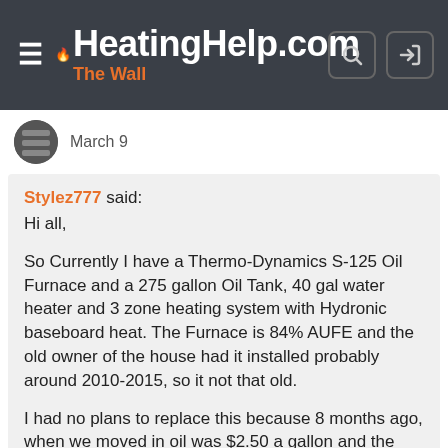HeatingHelp.com The Wall
March 9
Stylez777 said:
Hi all,

So Currently I have a Thermo-Dynamics S-125 Oil Furnace and a 275 gallon Oil Tank, 40 gal water heater and 3 zone heating system with Hydronic baseboard heat. The Furnace is 84% AUFE and the old owner of the house had it installed probably around 2010-2015, so it not that old.

I had no plans to replace this because 8 months ago, when we moved in oil was $2.50 a gallon and the cost of roughly * to convert just didn't make sense. Now...oil is near $6 a gallon where Nat Gas